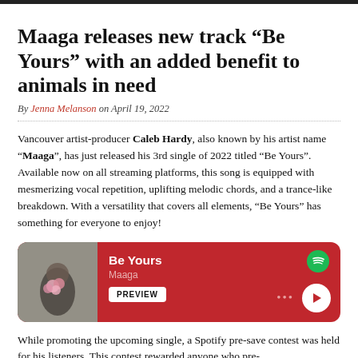Maaga releases new track “Be Yours” with an added benefit to animals in need
By Jenna Melanson on April 19, 2022
Vancouver artist-producer Caleb Hardy, also known by his artist name “Maaga”, has just released his 3rd single of 2022 titled “Be Yours”. Available now on all streaming platforms, this song is equipped with mesmerizing vocal repetition, uplifting melodic chords, and a trance-like breakdown. With a versatility that covers all elements, “Be Yours” has something for everyone to enjoy!
[Figure (screenshot): Spotify embed card showing the track 'Be Yours' by Maaga with a red background, album art thumbnail of a woman holding flowers, Spotify logo, PREVIEW button, and play controls.]
While promoting the upcoming single, a Spotify pre-save contest was held for his listeners. This contest rewarded anyone who pre-